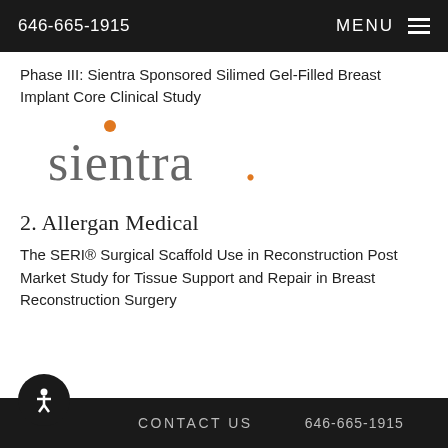646-665-1915   MENU
Phase III: Sientra Sponsored Silimed Gel-Filled Breast Implant Core Clinical Study
[Figure (logo): Sientra logo with orange dot above the 's' and orange period at end]
2. Allergan Medical
The SERI® Surgical Scaffold Use in Reconstruction Post Market Study for Tissue Support and Repair in Breast Reconstruction Surgery
CONTACT US   646-665-1915